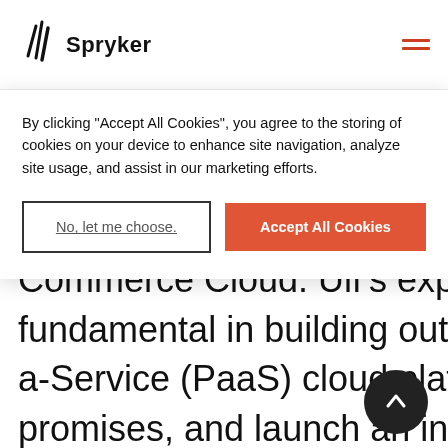Spryker
By clicking "Accept All Cookies", you agree to the storing of cookies on your device to enhance site navigation, analyze site usage, and assist in our marketing efforts.
No, let me choose.
Accept All Cookies
with almost 20 years of real-world digital commerce technology experience including architect and engineering lead for Hybris SAP Commerce Cloud. Ulf's expertise will be fundamental in building out Spryker's Platform-as-a-Service (PaaS) cloud platform, R&D roadmap promises, and launch an industry re-defining AppStore concept later this year. Ulf
Contact Us